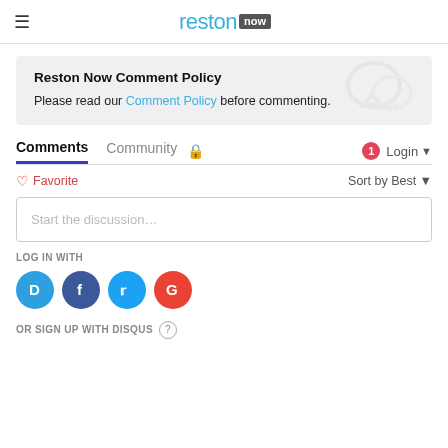reston now
Reston Now Comment Policy
Please read our Comment Policy before commenting.
Comments   Community   Login
Favorite   Sort by Best
Start the discussion...
LOG IN WITH
OR SIGN UP WITH DISQUS